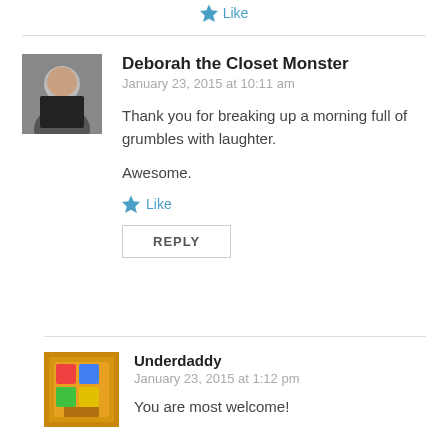[Figure (other): Star Like button at top]
[Figure (photo): Avatar photo of Deborah the Closet Monster - woman in dark clothing]
Deborah the Closet Monster
January 23, 2015 at 10:11 am

Thank you for breaking up a morning full of grumbles with laughter.

Awesome.

★ Like

REPLY
[Figure (photo): Avatar photo of Underdaddy - colorful image]
Underdaddy
January 23, 2015 at 1:12 pm

You are most welcome!